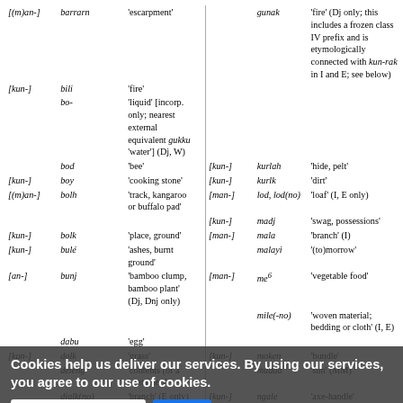| [(m)an-] | barrarn | 'escarpment' |  | gunak | 'fire' (Dj only; this includes a frozen class IV prefix and is etymologically connected with kun-rak in I and E; see below) |
| [kun-] | bili | 'fire' |  |  |  |
|  | bo- | 'liquid' [incorp. only; nearest external equivalent gukku 'water'] (Dj, W) |  |  |  |
|  | bod | 'bee' | [kun-] | kurlah | 'hide, pelt' |
| [kun-] | boy | 'cooking stone' | [kun-] | kurlk | 'dirt' |
| [(m)an-] | bolh | 'track, kangaroo or buffalo pad' | [man-] | lod, lod(no) | 'loaf' (I, E only) |
|  |  |  | [kun-] | madj | 'swag, possessions' |
| [kun-] | bolk | 'place, ground' | [man-] | mala | 'branch' (I) |
| [kun-] | bule | 'ashes, burnt ground' |  | malayi | '(to)morrow' |
| [an-] | bunj | 'bamboo clump, bamboo plant' (Dj, Dnj only) | [man-] | me⁶ | 'vegetable food' |
|  |  |  |  | mile(-no) | 'woven material; bedding or cloth' (I, E) |
|  | dabu | 'egg' |  |  |  |
| [kun-] | dalk | 'grass' | [kun-] | moken | 'bundle' |
|  | deleng | 'contents (of a container)' |  | mudda | 'sun' (MM) |
|  | djalk(no) | 'branch' (E only) | [kun-] | ngale | 'axe-handle' |
| [kun-] | dolng | 'smoke, mist' | [(m)an-] | ngui | 'flower' (Dj, W) |
| [kun-] | dule | 'song' (I, E) | [kun-] | red | 'camp' |
| [kun-] | dulk | 'tree; stick' |  | njiilk | 'rain, rainwater' (MM) |
| [kun-] | dung | 'sun' | [kun-] | rak | 'fire; firewood' (I, E; see also gunak above for Dj syn. of 'fire' meaning, and kun-yerrng below for syn. of 'firewood' meaning in other dialects) |
| [kun-] | dorrh | 'vine' |  |  |  |
| [kun-] | djorrh | 'body, form' (Dj, I) |  |  |  |
| [kun-] | djurle | 'bark shelter, shade' (Dj, W) |  |  |  |
| [kun-] | djurk | 'fast-flowing water' |  |  |  |
Cookies help us deliver our services. By using our services, you agree to our use of cookies.
More information | OK